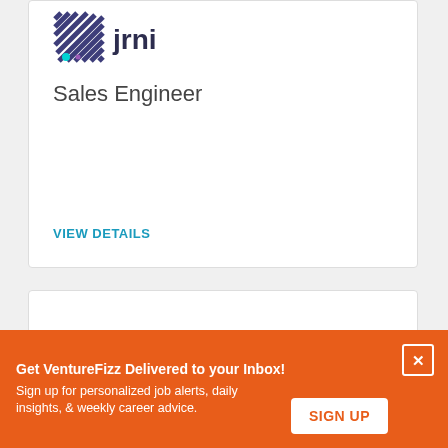[Figure (logo): JRNI company logo with diagonal striped icon and purple text]
Sales Engineer
VIEW DETAILS
[Figure (logo): JRNI company logo (partial, bottom of second card)]
Get VentureFizz Delivered to your Inbox! Sign up for personalized job alerts, daily insights, & weekly career advice.
SIGN UP